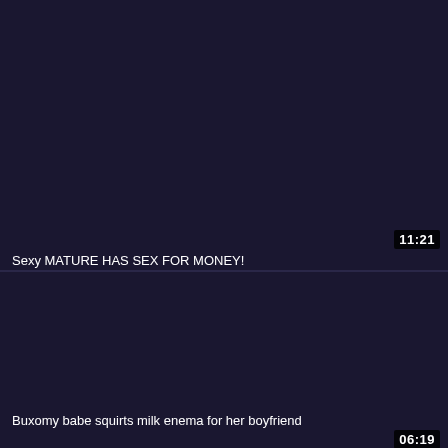[Figure (screenshot): Dark navy video thumbnail placeholder, top card]
11:21
Sexy MATURE HAS SEX FOR MONEY!
[Figure (screenshot): Dark navy video thumbnail placeholder, bottom card]
06:19
Buxomy babe squirts milk enema for her boyfriend